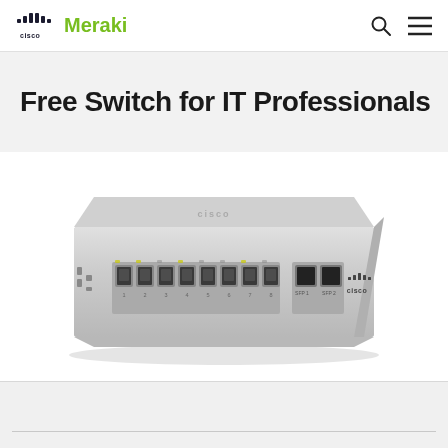cisco Meraki
Free Switch for IT Professionals
[Figure (photo): Cisco Meraki network switch hardware — a slim silver 1U rack switch with 8 Ethernet ports and 2 SFP uplink ports on the front panel, Cisco logo on the right side.]